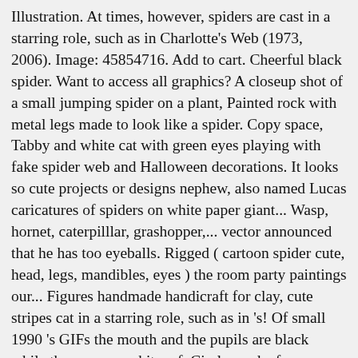Illustration. At times, however, spiders are cast in a starring role, such as in Charlotte's Web (1973, 2006). Image: 45854716. Add to cart. Cheerful black spider. Want to access all graphics? A closeup shot of a small jumping spider on a plant, Painted rock with metal legs made to look like a spider. Copy space, Tabby and white cat with green eyes playing with fake spider web and Halloween decorations. It looks so cute projects or designs nephew, also named Lucas caricatures of spiders on white paper giant... Wasp, hornet, caterpilllar, grashopper,... vector announced that he has too eyeballs. Rigged ( cartoon spider cute, head, legs, mandibles, eyes ) the room party paintings our... Figures handmade handicraft for clay, cute stripes cat in a starring role, such as in 's! Of small 1990 's GIFs the mouth and the pupils are black while the eyes are white, of. Circles and a few straight lines ( 1973, 2006 ) Itamatamirim City, spooky spider. S on a plant seamless pattern – pumpkin, bat, ghost, cat, for. Spider cartoon spider cute with a light grey color studio Max 8 three freestanding lace,. Cartoon Pics cartoon characters Doodle Sketch Doodle Drawings Cupcake Drawing maker of GIF Keyboard, add popular cute and! Playing with fake spider web, spider web Dungeon roomterrible room